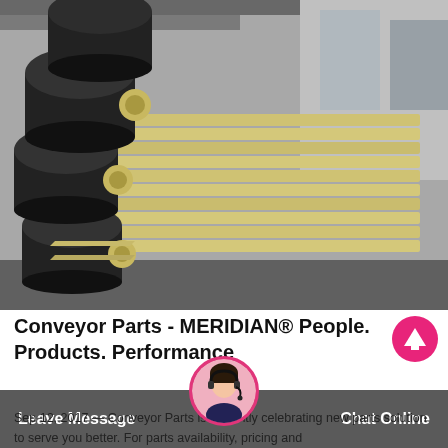[Figure (photo): Stacked conveyor belt idler frames with large black rubber rollers, painted cream/yellow, stored outdoors at an industrial facility.]
Conveyor Parts - MERIDIAN® People. Products. Performance
Sep 12, 2017 — Conveyor Parts is currently celebrating new parts solution to serve you better. For parts availability, pricing and